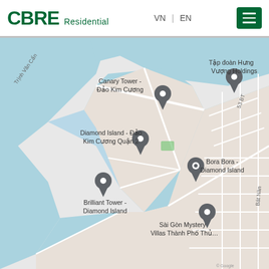[Figure (logo): CBRE Residential logo in dark green]
VN | EN
[Figure (map): Google Maps screenshot showing Diamond Island area in Ho Chi Minh City with pins for: Canary Tower - Đảo Kim Cương, Diamond Island - Đảo Kim Cương Quận 2, Bora Bora - Diamond Island, Brilliant Tower - Diamond Island, Sài Gòn Mystery Villas Thành Phố Thủ..., Tập đoàn Hưng Vượng Holdings. Streets visible include Trịnh Văn Cẩn, 53 BT, Bát Nàn.]